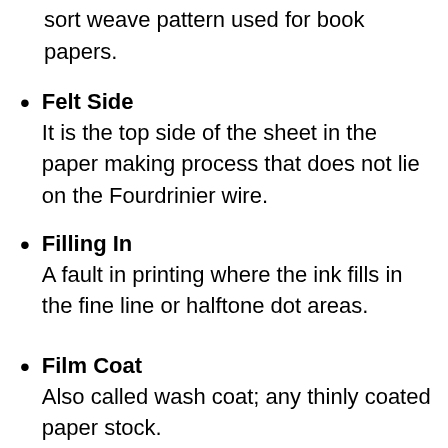sort weave pattern used for book papers.
Felt Side
It is the top side of the sheet in the paper making process that does not lie on the Fourdrinier wire.
Filling In
A fault in printing where the ink fills in the fine line or halftone dot areas.
Film Coat
Also called wash coat; any thinly coated paper stock.
Finish